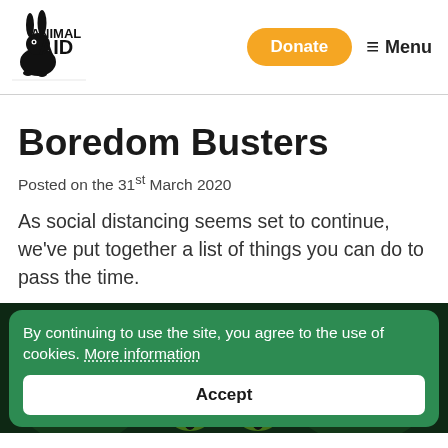[Figure (logo): Animal Aid logo — black and white illustration of a rabbit with bold stacked text 'ANIMAL AID']
Donate
≡ Menu
Boredom Busters
Posted on the 31st March 2020
As social distancing seems set to continue, we've put together a list of things you can do to pass the time.
By continuing to use the site, you agree to the use of cookies. More information
Accept
[Figure (photo): Partial photo of an animal (appears to be a cat) with dark green tones, partially obscured by cookie consent banner]